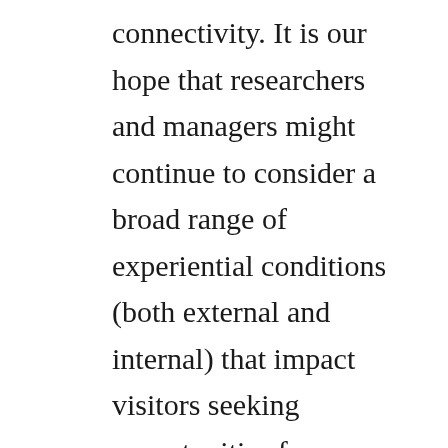connectivity. It is our hope that researchers and managers might continue to consider a broad range of experiential conditions (both external and internal) that impact visitors seeking opportunities for solitude within units of the National Wilderness Preservation System.
Solitude as a Complex Research Topic
Wilderness solitude has long been an elusive concept. The Wilderness Act of 1964 is relatively terse when it calls for the provision of “outstanding opportunities for solitude or a primitive